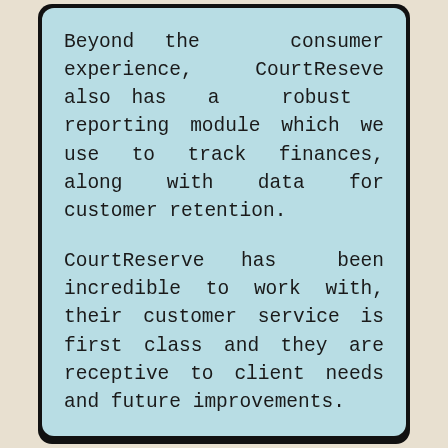Beyond the consumer experience, CourtReseve also has a robust reporting module which we use to track finances, along with data for customer retention.

CourtReserve has been incredible to work with, their customer service is first class and they are receptive to client needs and future improvements.

We are extremely excited to continue a long-term relationship with them at both of our facilities.